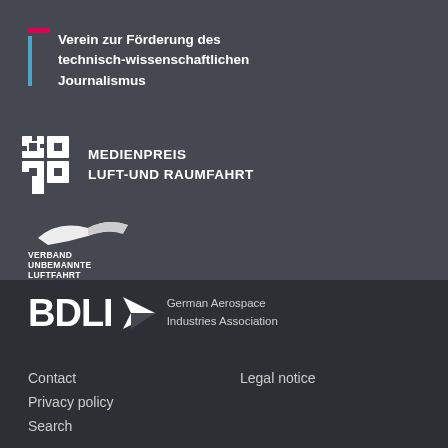[Figure (logo): Verein zur Förderung des technisch-wissenschaftlichen Journalismus logo with pink bar, blue vertical bar, and bold white text]
[Figure (logo): Medienpreis Luft-und Raumfahrt logo with cross/grid icon and white bold text]
[Figure (logo): Verband Unbemannte Luftfahrt logo with bird/aircraft silhouette icon and white text]
[Figure (logo): BDLI German Aerospace Industries Association logo with bold BDLI text, arrow icon and subtitle text]
Contact
Legal notice
Privacy policy
Search